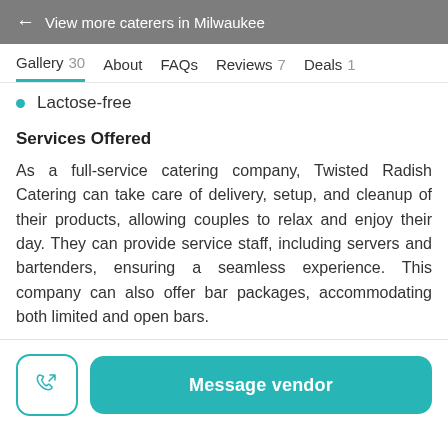← View more caterers in Milwaukee
Gallery 30   About   FAQs   Reviews 7   Deals 1
Lactose-free
Services Offered
As a full-service catering company, Twisted Radish Catering can take care of delivery, setup, and cleanup of their products, allowing couples to relax and enjoy their day. They can provide service staff, including servers and bartenders, ensuring a seamless experience. This company can also offer bar packages, accommodating both limited and open bars.
Message vendor